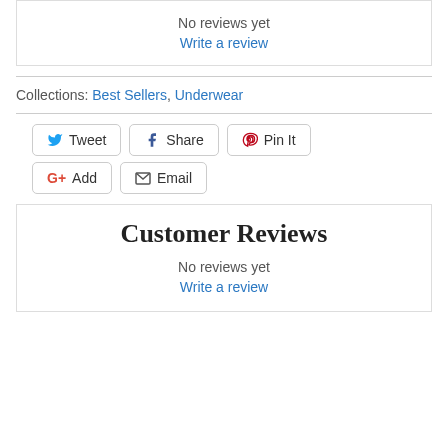No reviews yet
Write a review
Collections: Best Sellers, Underwear
[Figure (infographic): Social sharing buttons: Tweet (Twitter), Share (Facebook), Pin It (Pinterest), Add (Google+), Email]
Customer Reviews
No reviews yet
Write a review